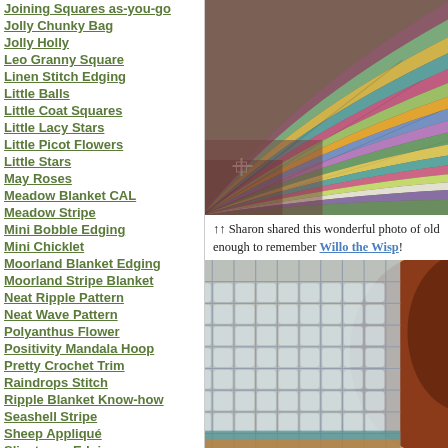Joining Squares as-you-go
Jolly Chunky Bag
Jolly Holly
Leo Granny Square
Linen Stitch Edging
Little Balls
Little Coat Squares
Little Lacy Stars
Little Picot Flowers
Little Stars
May Roses
Meadow Blanket CAL
Meadow Stripe
Mini Bobble Edging
Mini Chicklet
Moorland Blanket Edging
Moorland Stripe Blanket
Neat Ripple Pattern
Neat Wave Pattern
Polyanthus Flower
Positivity Mandala Hoop
Pretty Crochet Trim
Raindrops Stitch
Ripple Blanket Know-how
Seashell Stripe
Sheep Appliqué
Slipstones Edging
[Figure (photo): Colorful striped crochet blanket with ripple/fan pattern in multicolored yarn, laid out on a patterned surface]
↑↑ Sharon shared this wonderful photo of old enough to remember Willo the Wisp!
[Figure (photo): Lacy crochet fabric in light blue/grey with open mesh pattern, person wearing it visible]